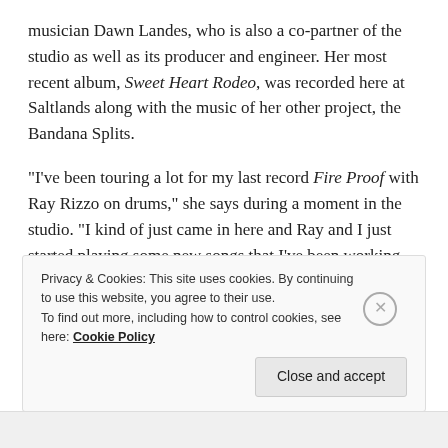musician Dawn Landes, who is also a co-partner of the studio as well as its producer and engineer. Her most recent album, Sweet Heart Rodeo, was recorded here at Saltlands along with the music of her other project, the Bandana Splits.
“I’ve been touring a lot for my last record Fire Proof with Ray Rizzo on drums,” she says during a moment in the studio. “I kind of just came in here and Ray and I just started playing some new songs that I’ve been working on. I thought it was just going to be some demos…and then it became the album.”
Privacy & Cookies: This site uses cookies. By continuing to use this website, you agree to their use. To find out more, including how to control cookies, see here: Cookie Policy
Close and accept